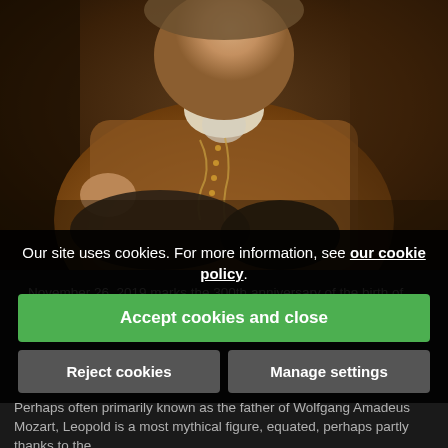[Figure (photo): Portrait painting of Leopold Mozart, a man in 18th century clothing wearing a brown/gold embroidered coat and holding a black hat, dark background]
November 26, 2019 marks the 300th anniversary of the birth of Leopold Mozart (November 14, 1719 – May 28, 1787).
Our site uses cookies. For more information, see our cookie policy.
Accept cookies and close
Reject cookies
Manage settings
Perhaps often primarily known as the father of Wolfgang Amadeus Mozart, Leopold is a most mythical figure, equated, perhaps partly thanks to the